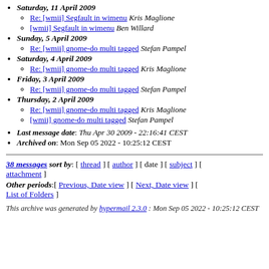Saturday, 11 April 2009
Re: [wmii] Segfault in wimenu Kris Maglione
[wmii] Segfault in wimenu Ben Willard
Sunday, 5 April 2009
Re: [wmii] gnome-do multi tagged Stefan Pampel
Saturday, 4 April 2009
Re: [wmii] gnome-do multi tagged Kris Maglione
Friday, 3 April 2009
Re: [wmii] gnome-do multi tagged Stefan Pampel
Thursday, 2 April 2009
Re: [wmii] gnome-do multi tagged Kris Maglione
[wmii] gnome-do multi tagged Stefan Pampel
Last message date: Thu Apr 30 2009 - 22:16:41 CEST
Archived on: Mon Sep 05 2022 - 10:25:12 CEST
38 messages sort by: [ thread ] [ author ] [ date ] [ subject ] [ attachment ] Other periods:[ Previous, Date view ] [ Next, Date view ] [ List of Folders ]
This archive was generated by hypermail 2.3.0 : Mon Sep 05 2022 - 10:25:12 CEST